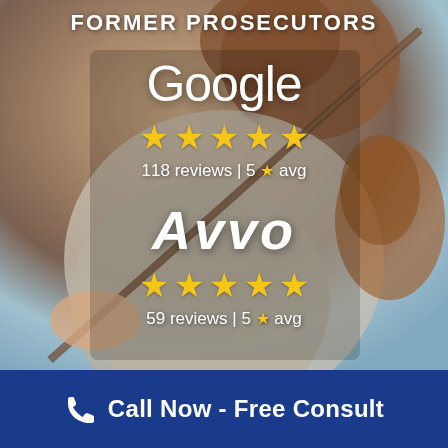FORMER PROSECUTORS
[Figure (infographic): Background photo of a person playing violin, with review ratings overlaid. Google: 5 stars, 118 reviews, 5 star avg. Avvo: 5 stars, 59 reviews, 5 star avg.]
Google
118 reviews | 5 ★ avg
Avvo
59 reviews | 5 ★ avg
Call Now - Free Consult